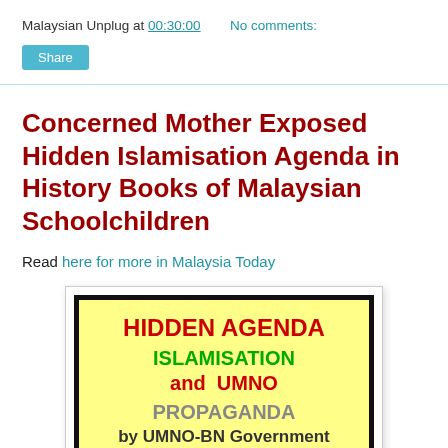Malaysian Unplug at 00:30:00    No comments:
Share
Concerned Mother Exposed Hidden Islamisation Agenda in History Books of Malaysian Schoolchildren
Read here for more in Malaysia Today
[Figure (illustration): Book cover image showing 'HIDDEN AGENDA ISLAMISATION and UMNO PROPAGANDA by UMNO-BN Government in School Textbooks' text in red, green, grey and black on a yellow background with thick black border]